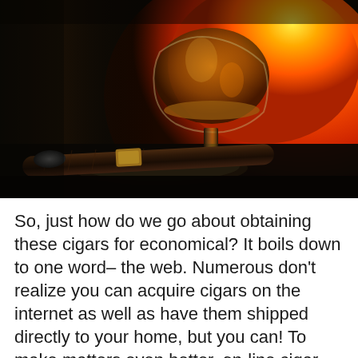[Figure (photo): A large brandy snifter glass filled with amber cognac/brandy, backlit by orange-red fireplace flames, resting on a dark surface with a premium cigar in the foreground on an ashtray.]
So, just how do we go about obtaining these cigars for economical? It boils down to one word– the web. Numerous don't realize you can acquire cigars on the internet as well as have them shipped directly to your home, but you can! To make matters even better, on-line cigar shops are continuously running